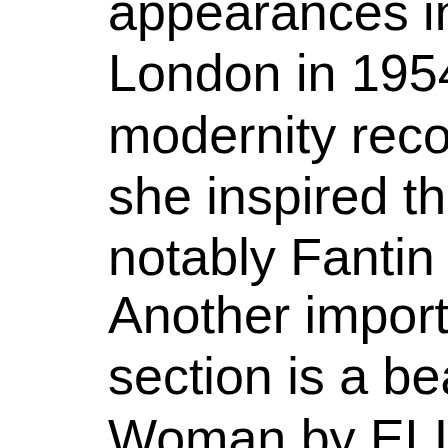appearances in London in 1954. An modernity recognize she inspired the Im notably Fantin La To
Another important w section is a beautifu Woman by ELISAB BRUN (1755-1842)